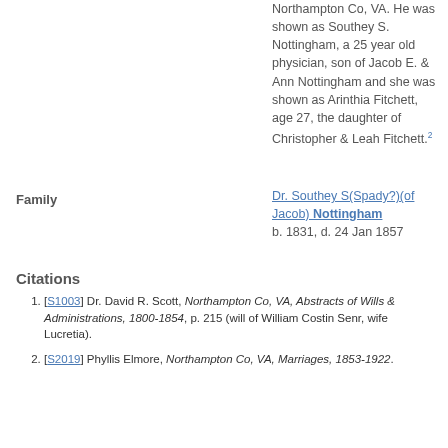Northampton Co, VA. He was shown as Southey S. Nottingham, a 25 year old physician, son of Jacob E. & Ann Nottingham and she was shown as Arinthia Fitchett, age 27, the daughter of Christopher & Leah Fitchett.²
Family
Dr. Southey S(Spady?)(of Jacob) Nottingham b. 1831, d. 24 Jan 1857
Citations
[S1003] Dr. David R. Scott, Northampton Co, VA, Abstracts of Wills & Administrations, 1800-1854, p. 215 (will of William Costin Senr, wife Lucretia).
[S2019] Phyllis Elmore, Northampton Co, VA, Marriages, 1853-1922.